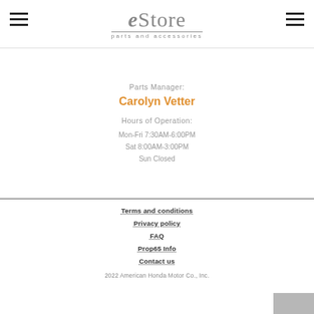eStore parts and accessories
Parts Manager:
Carolyn Vetter
Hours of Operation:
Mon-Fri 7:30AM-6:00PM
Sat 8:00AM-3:00PM
Sun Closed
Terms and conditions
Privacy policy
FAQ
Prop65 Info
Contact us
2022 American Honda Motor Co., Inc.